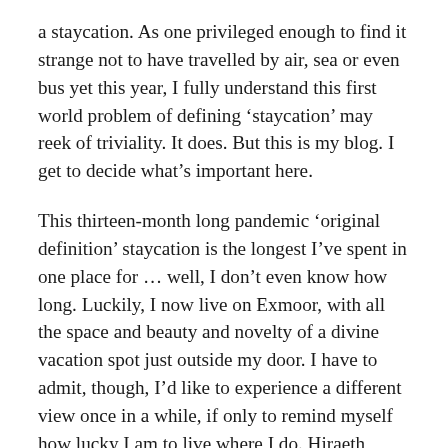a staycation. As one privileged enough to find it strange not to have travelled by air, sea or even bus yet this year, I fully understand this first world problem of defining ‘staycation’ may reek of triviality. It does. But this is my blog. I get to decide what’s important here.
This thirteen-month long pandemic ‘original definition’ staycation is the longest I’ve spent in one place for … well, I don’t even know how long. Luckily, I now live on Exmoor, with all the space and beauty and novelty of a divine vacation spot just outside my door. I have to admit, though, I’d like to experience a different view once in a while, if only to remind myself how lucky I am to live where I do. Hiraeth brought me back home but wanderlust never